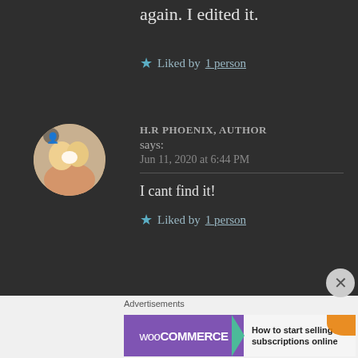again. I edited it.
★ Liked by 1 person
[Figure (photo): Circular avatar photo of a cat/kitten being held in a hand, with a user/author icon overlay in the top-left corner]
H.R PHOENIX, AUTHOR says:
Jun 11, 2020 at 6:44 PM
I cant find it!
★ Liked by 1 person
[Figure (infographic): WooCommerce advertisement banner: purple WooCommerce logo on left with green arrow, text 'How to start selling subscriptions online' on right with orange and teal decorative shapes]